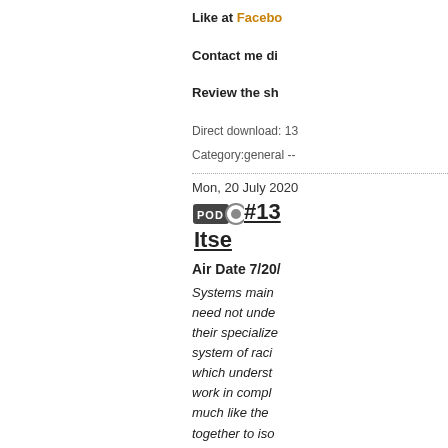Like at Facebo...
Contact me di...
Review the sh...
Direct download: 13...
Category:general --...
Mon, 20 July 2020
#13... Itse...
Air Date 7/20/...
Systems main... need not unde... their specialize... system of raci... which underst... work in compl... much like the... together to iso...